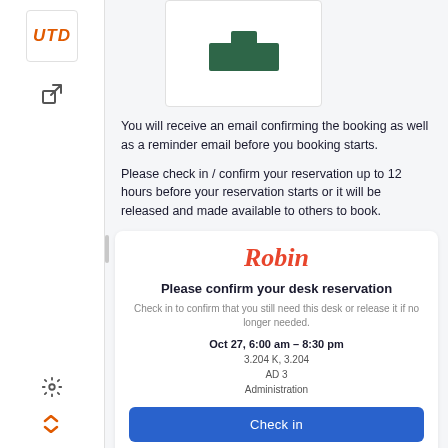[Figure (screenshot): App sidebar with UTD logo (orange), external link icon, settings gear icon, and orange double-arrow icon]
[Figure (illustration): Room/desk icon — dark green desk silhouette on white card background]
You will receive an email confirming the booking as well as a reminder email before you booking starts.
Please check in / confirm your reservation up to 12 hours before your reservation starts or it will be released and made available to others to book.
Robin
Please confirm your desk reservation
Check in to confirm that you still need this desk or release it if no longer needed.
Oct 27, 6:00 am – 8:30 pm
3.204 K, 3.204
AD 3
Administration
Check in
Release desk